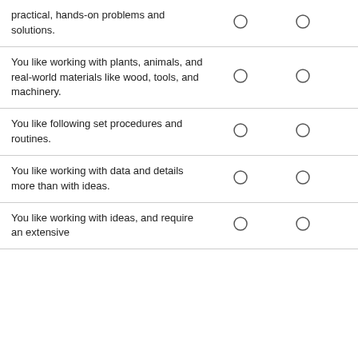| Statement |  |  |  |
| --- | --- | --- | --- |
| practical, hands-on problems and solutions. | ○ | ○ | ○ |
| You like working with plants, animals, and real-world materials like wood, tools, and machinery. | ○ | ○ | ○ |
| You like following set procedures and routines. | ○ | ○ | ○ |
| You like working with data and details more than with ideas. | ○ | ○ | ○ |
| You like working with ideas, and require an extensive | ○ | ○ | ○ |